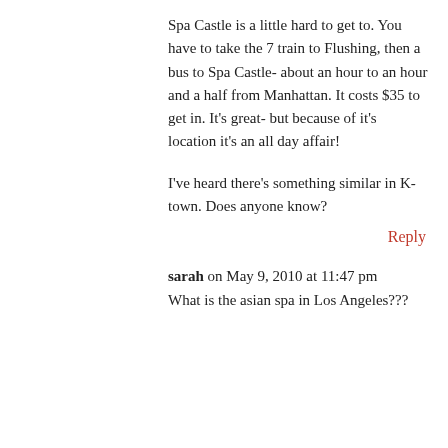Spa Castle is a little hard to get to. You have to take the 7 train to Flushing, then a bus to Spa Castle- about an hour to an hour and a half from Manhattan. It costs $35 to get in. It's great- but because of it's location it's an all day affair!
I've heard there's something similar in K-town. Does anyone know?
Reply
sarah on May 9, 2010 at 11:47 pm
What is the asian spa in Los Angeles???